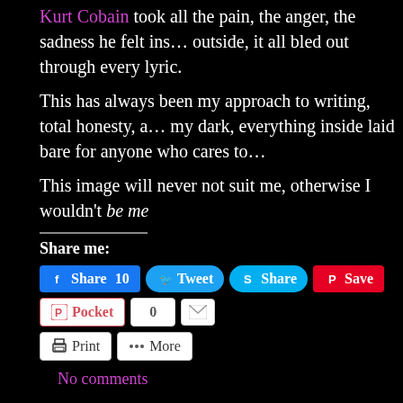Kurt Cobain took all the pain, the anger, the sadness he felt ins… outside, it all bled out through every lyric.
This has always been my approach to writing, total honesty, a… my dark, everything inside laid bare for anyone who cares to…
This image will never not suit me, otherwise I wouldn't be me
Share me:
[Figure (screenshot): Social share buttons: Facebook Share 10, Tweet, Skype Share, Pinterest Save, Pocket with count 0, Email, Print, More]
No comments
…AND RYAN GOSLING READ THE BLOG
June 25th, 2017 | Category: Life, Tattoos
So, somehow or other, Ryan Gosling got ahold of my blog post a… Last Word, and he tweeted about it…